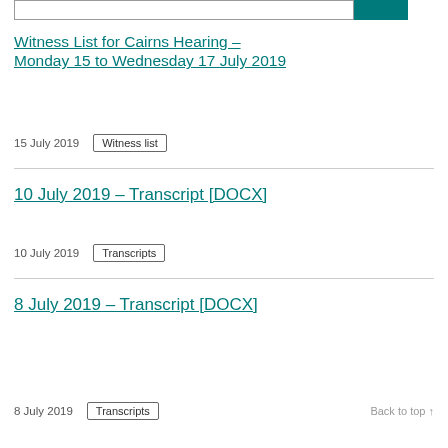Witness List for Cairns Hearing – Monday 15 to Wednesday 17 July 2019
15 July 2019   Witness list
10 July 2019 – Transcript [DOCX]
10 July 2019   Transcripts
8 July 2019 – Transcript [DOCX]
8 July 2019   Transcripts
Back to top ↑